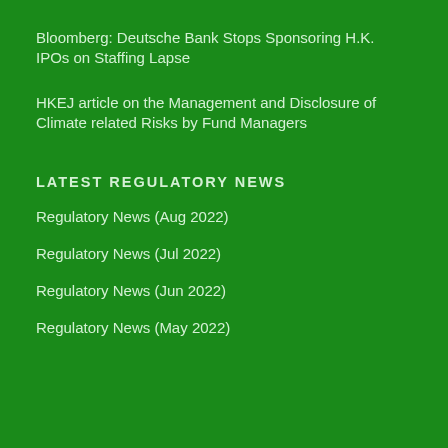Bloomberg: Deutsche Bank Stops Sponsoring H.K. IPOs on Staffing Lapse
HKEJ article on the Management and Disclosure of Climate related Risks by Fund Managers
LATEST REGULATORY NEWS
Regulatory News (Aug 2022)
Regulatory News (Jul 2022)
Regulatory News (Jun 2022)
Regulatory News (May 2022)